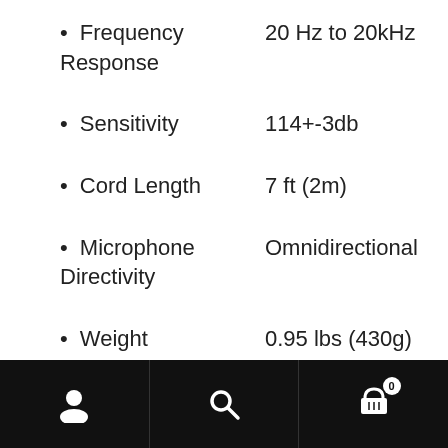Frequency Response: 20 Hz to 20kHz
Sensitivity: 114+-3db
Cord Length: 7 ft (2m)
Microphone Directivity: Omnidirectional
Weight: 0.95 lbs (430g)
Navigation bar with user, search, and cart (0) icons